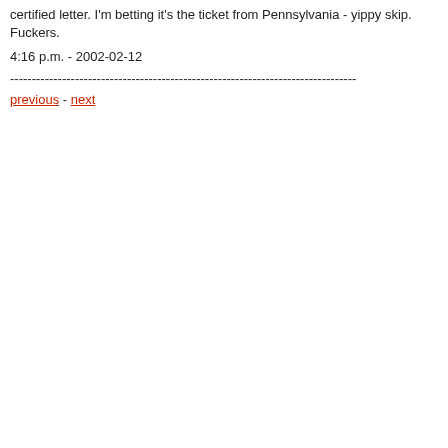certified letter. I'm betting it's the ticket from Pennsylvania - yippy skip. Fuckers.
4:16 p.m. - 2002-02-12
--------------------------------------------------------------------------------
previous - next